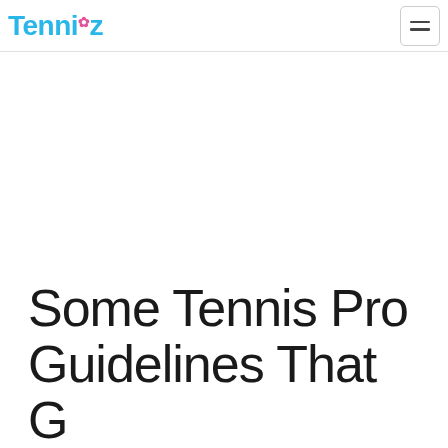Tenniz
Some Tennis Pro Guidelines That C